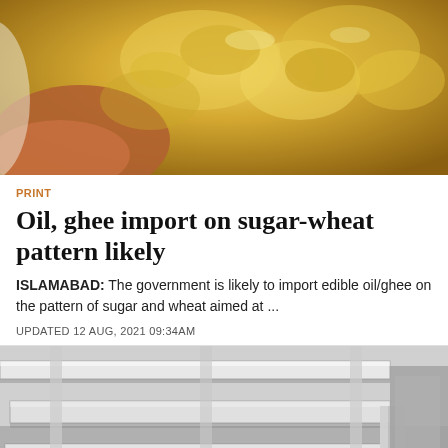[Figure (photo): Close-up photo of ghee (clarified butter) being scooped with a spoon from a container, showing the yellow semi-solid texture]
PRINT
Oil, ghee import on sugar-wheat pattern likely
ISLAMABAD: The government is likely to import edible oil/ghee on the pattern of sugar and wheat aimed at ...
UPDATED 12 AUG, 2021 09:34AM
[Figure (photo): Industrial machinery or infrastructure photo showing white-painted steel beams/shelving structure in a factory or warehouse setting]